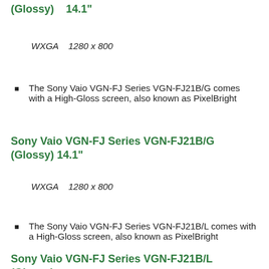(Glossy)    14.1"
WXGA    1280 x 800
The Sony Vaio VGN-FJ Series VGN-FJ21B/G comes with a High-Gloss screen, also known as PixelBright
Sony Vaio VGN-FJ Series VGN-FJ21B/G (Glossy) 14.1"
WXGA    1280 x 800
The Sony Vaio VGN-FJ Series VGN-FJ21B/L comes with a High-Gloss screen, also known as PixelBright
Sony Vaio VGN-FJ Series VGN-FJ21B/L (Glossy)